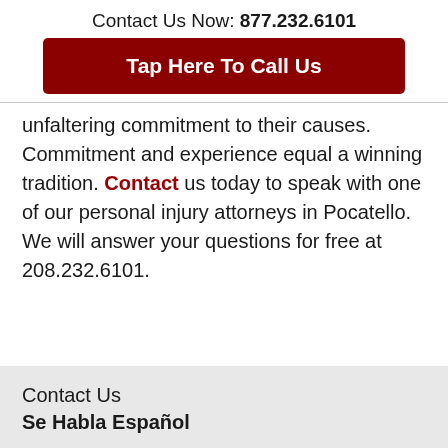Contact Us Now: 877.232.6101
Tap Here To Call Us
unfaltering commitment to their causes. Commitment and experience equal a winning tradition. Contact us today to speak with one of our personal injury attorneys in Pocatello. We will answer your questions for free at 208.232.6101.
Contact Us
Se Habla Español